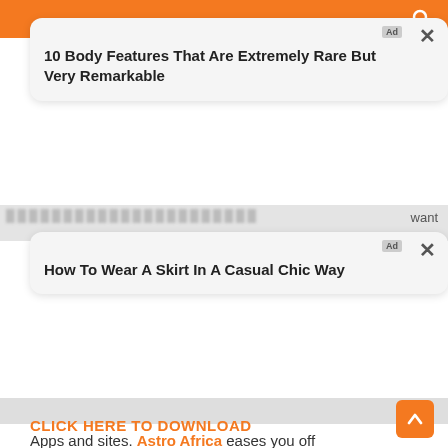[Figure (screenshot): Ad card 1: '10 Body Features That Are Extremely Rare But Very Remarkable' with Ad badge and close button]
want
[Figure (screenshot): Ad card 2: 'How To Wear A Skirt In A Casual Chic Way' with Ad badge and close button]
Apps and sites. Astro Africa eases you off
all the pressure you might have known be for now. Welcome to the number one gift card trading platform in Ghana.
CLICK HERE TO DOWNLOAD